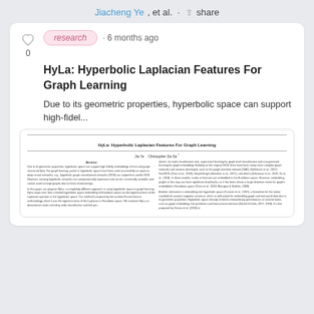Jiacheng Ye, et al. · share
research · 6 months ago
HyLa: Hyperbolic Laplacian Features For Graph Learning
Due to its geometric properties, hyperbolic space can support high-fidel...
[Figure (screenshot): Preview thumbnail of the paper 'HyLa: Hyperbolic Laplacian Features For Graph Learning' showing abstract and two-column body text.]